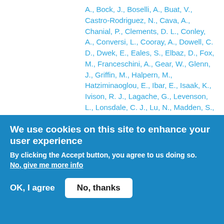A., Bock, J., Boselli, A., Buat, V., Castro-Rodriguez, N., Cava, A., Chanial, P., Clements, D. L., Conley, A., Conversi, L., Cooray, A., Dowell, C. D., Dwek, E., Eales, S., Elbaz, D., Fox, M., Franceschini, A., Gear, W., Glenn, J., Griffin, M., Halpern, M., Hatziminaoglou, E., Ibar, E., Isaak, K., Ivison, R. J., Lagache, G., Levenson, L., Lonsdale, C. J., Lu, N., Madden, S., Maffei, B., Mainetti, G., Marchetti, L., Morrison, G. E., Nguyen, H. T., O'Halloran, B., Oliver, S. J., Omont, A., Owen, F. N., Pannella, M., Panuzzo, P., Papageorgiou, A., Pearson, C. P., Perez-Fournon, I., Pohlen, M., Rizzo, D., Roseboom, J. G., Rowan-Robinson, M., Portal
We use cookies on this site to enhance your user experience
By clicking the Accept button, you agree to us doing so.
No, give me more info
OK, I agree
No, thanks